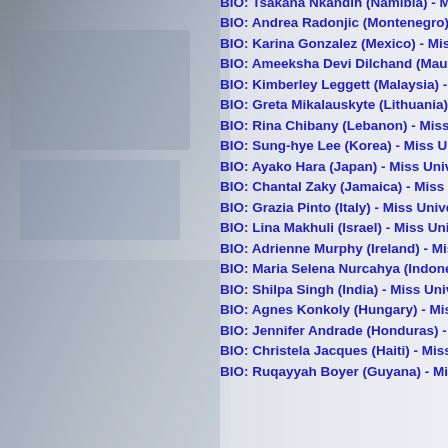[Figure (photo): Grayscale background photo of a person or scene, visible on the left half of the page]
BIO: Tsakana Nkandih (Namibia) - Miss U
BIO: Andrea Radonjic (Montenegro) - Mis
BIO: Karina Gonzalez (Mexico) - Miss Un
BIO: Ameeksha Devi Dilchand (Mauritius
BIO: Kimberley Leggett (Malaysia) - Miss
BIO: Greta Mikalauskyte (Lithuania) - Mis
BIO: Rina Chibany (Lebanon) - Miss Univ
BIO: Sung-hye Lee (Korea) - Miss Univer
BIO: Ayako Hara (Japan) - Miss Universe
BIO: Chantal Zaky (Jamaica) - Miss Univ
BIO: Grazia Pinto (Italy) - Miss Universe
BIO: Lina Makhuli (Israel) - Miss Universe
BIO: Adrienne Murphy (Ireland) - Miss Un
BIO: Maria Selena Nurcahya (Indonesia)
BIO: Shilpa Singh (India) - Miss Universe
BIO: Agnes Konkoly (Hungary) - Miss Un
BIO: Jennifer Andrade (Honduras) - Miss
BIO: Christela Jacques (Haiti) - Miss Univ
BIO: Ruqayyah Boyer (Guyana) - Miss U